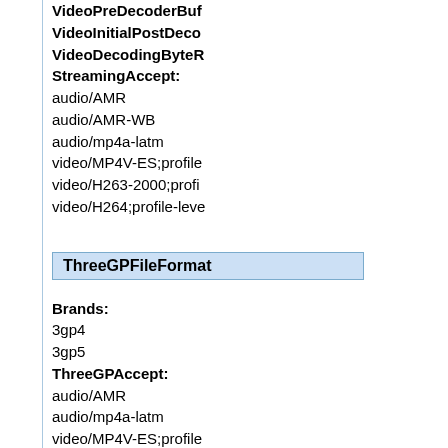VideoPreDecoderBuf
VideoInitialPostDeco
VideoDecodingByteR
StreamingAccept:
audio/AMR
audio/AMR-WB
audio/mp4a-latm
video/MP4V-ES;profile
video/H263-2000;profi
video/H264;profile-leve
ThreeGPFileFormat
Brands:
3gp4
3gp5
ThreeGPAccept:
audio/AMR
audio/mp4a-latm
video/MP4V-ES;profile
video/MP4V-ES;profile
video/H264-2000;profi
video/H263-2000;profi
video/H264;profile-leve
ThreeGPOmaDrm: